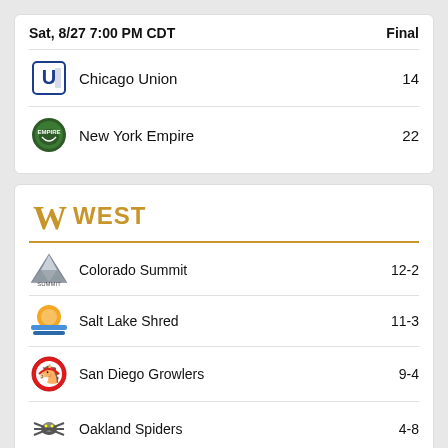| Sat, 8/27 7:00 PM CDT | Final |
| --- | --- |
| Chicago Union | 14 |
| New York Empire | 22 |
W WEST
| Team | Record |
| --- | --- |
| Colorado Summit | 12-2 |
| Salt Lake Shred | 11-3 |
| San Diego Growlers | 9-4 |
| Oakland Spiders | 4-8 |
| LA Aviators | 4-8 |
| Seattle Cascades | 2-10 |
| Portland Nitro | 2-10 |